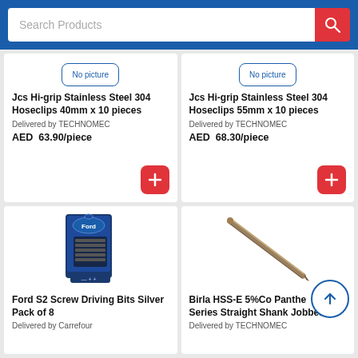Search Products
Jcs Hi-grip Stainless Steel 304 Hoseclips 40mm x 10 pieces
Delivered by TECHNOMEC
AED 63.90/piece
Jcs Hi-grip Stainless Steel 304 Hoseclips 55mm x 10 pieces
Delivered by TECHNOMEC
AED 68.30/piece
[Figure (photo): Ford S2 Screw Driving Bits Silver Pack of 8 product image]
Ford S2 Screw Driving Bits Silver Pack of 8
Delivered by Carrefour
[Figure (photo): Birla HSS-E 5%Co Panther Series Straight Shank Jobber drill bit product image]
Birla HSS-E 5%Co Panther Series Straight Shank Jobber...
Delivered by TECHNOMEC